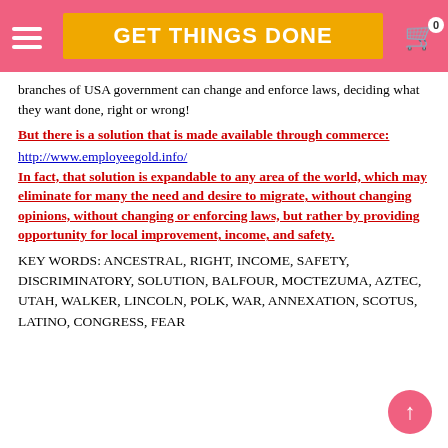GET THINGS DONE
branches of USA government can change and enforce laws, deciding what they want done, right or wrong!
But there is a solution that is made available through commerce:
http://www.employeegold.info/
In fact, that solution is expandable to any area of the world, which may eliminate for many the need and desire to migrate, without changing opinions, without changing or enforcing laws, but rather by providing opportunity for local improvement, income, and safety.
KEY WORDS: ANCESTRAL, RIGHT, INCOME, SAFETY, DISCRIMINATORY, SOLUTION, BALFOUR, MOCTEZUMA, AZTEC, UTAH, WALKER, LINCOLN, POLK, WAR, ANNEXATION, SCOTUS, LATINO, CONGRESS, FEAR